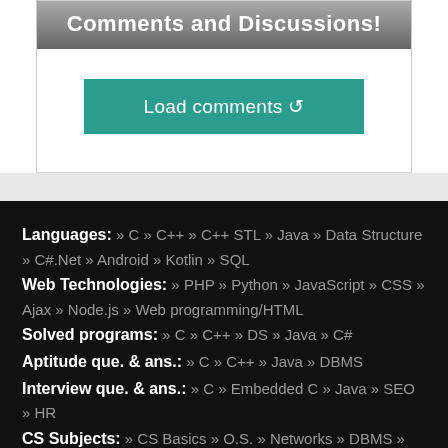Comments and Discussions!
Load comments ↺
Languages: » C » C++ » C++ STL » Java » Data Structure » C#.Net » Android » Kotlin » SQL
Web Technologies: » PHP » Python » JavaScript » CSS » Ajax » Node.js » Web programming/HTML
Solved programs: » C » C++ » DS » Java » C#
Aptitude que. & ans.: » C » C++ » Java » DBMS
Interview que. & ans.: » C » Embedded C » Java » SEO » HR
CS Subjects: » CS Basics » O.S. » Networks » DBMS » Embedded Systems » Cloud Computing
» Machine learning » CS Organizations » Linux » DOS
More: » Articles » Puzzles » News/Updates